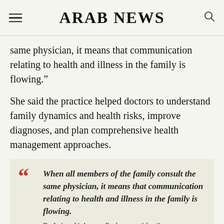ARAB NEWS
same physician, it means that communication relating to health and illness in the family is flowing.”
She said the practice helped doctors to understand family dynamics and health risks, improve diagnoses, and plan comprehensive health management approaches.
“When all members of the family consult the same physician, it means that communication relating to health and illness in the family is flowing.
Dr. Lubna Al-Ansary, Professor and family